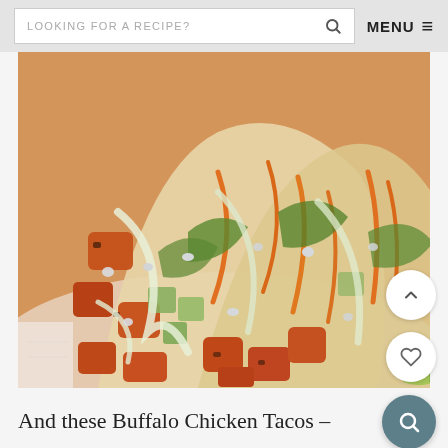LOOKING FOR A RECIPE? [search icon] MENU ≡
[Figure (photo): Close-up overhead photo of buffalo chicken tacos on a white plate. Tacos are filled with spiced orange chicken pieces, shredded carrots, green lettuce, avocado cubes, and drizzled with a creamy green (avocado/ranch) dressing and blue cheese crumbles.]
And these Buffalo Chicken Tacos –